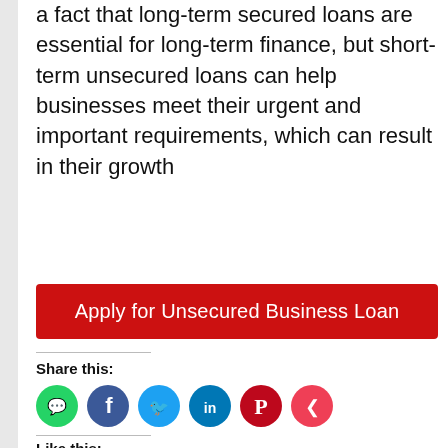a fact that long-term secured loans are essential for long-term finance, but short-term unsecured loans can help businesses meet their urgent and important requirements, which can result in their growth
[Figure (other): Red button labeled 'Apply for Unsecured Business Loan']
Share this:
[Figure (infographic): Row of social share icon circles: WhatsApp (green), Facebook (blue), Twitter (light blue), LinkedIn (dark blue), Pinterest (red/crimson), Pocket (red/pink)]
Like this:
[Figure (other): Like button widget with star icon and text 'Like']
Be the first to like this.
Related
[Figure (photo): Partial thumbnail image of a person, partially visible at bottom right, with text 'Secured' visible]